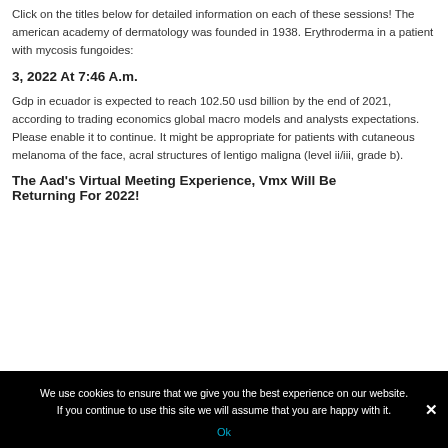Click on the titles below for detailed information on each of these sessions! The american academy of dermatology was founded in 1938. Erythroderma in a patient with mycosis fungoides:
3, 2022 At 7:46 A.m.
Gdp in ecuador is expected to reach 102.50 usd billion by the end of 2021, according to trading economics global macro models and analysts expectations. Please enable it to continue. It might be appropriate for patients with cutaneous melanoma of the face, acral structures of lentigo maligna (level ii/iii, grade b).
The Aad's Virtual Meeting Experience, Vmx Will Be Returning For 2022!
We use cookies to ensure that we give you the best experience on our website. If you continue to use this site we will assume that you are happy with it.